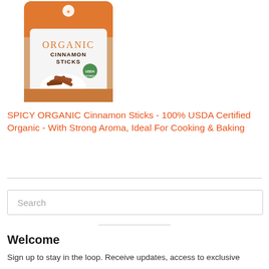[Figure (photo): Product photo of a kraft paper stand-up pouch with orange bottom. White label area shows 'ORGANIC' in orange letters and 'CINNAMON STICKS' in dark brown letters below it. Cinnamon sticks displayed in a white circular dish on the pouch. Small logo at top of pouch.]
SPICY ORGANIC Cinnamon Sticks - 100% USDA Certified Organic - With Strong Aroma, Ideal For Cooking & Baking
Search
Welcome
Sign up to stay in the loop. Receive updates, access to exclusive